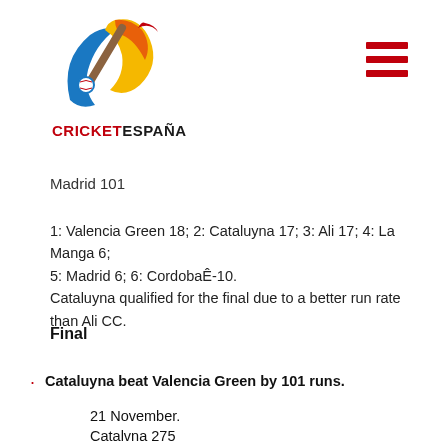[Figure (logo): Cricket España logo with stylized cricket bat and swoosh in blue, red, orange, yellow colors]
Madrid 101
1: Valencia Green 18; 2: Cataluyna 17; 3: Ali 17; 4: La Manga 6; 5: Madrid 6; 6: CordobaÊ-10.
Catulayna qualified for the final due to a better run rate than Ali CC.
Final
Cataluyna beat Valencia Green by 101 runs.
21 November.
Catalvna 275